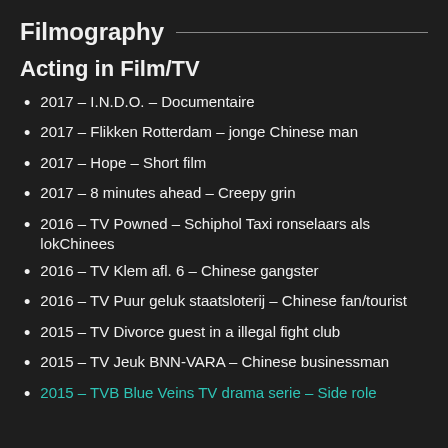Filmography
Acting in Film/TV
2017 – I.N.D.O. – Documentaire
2017 – Flikken Rotterdam – jonge Chinese man
2017 – Hope – Short film
2017 – 8 minutes ahead – Creepy grin
2016 – TV Powned – Schiphol Taxi ronselaars als lokChinees
2016 – TV Klem afl. 6 – Chinese gangster
2016 – TV Puur geluk staatsloterij – Chinese fan/tourist
2015 – TV Divorce guest in a illegal fight club
2015 – TV Jeuk BNN-VARA – Chinese businessman
2015 – TVB Blue Veins TV drama serie – Side role